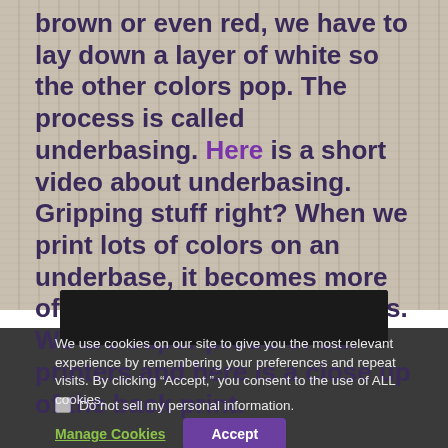brown or even red, we have to lay down a layer of white so the other colors pop. The process is called underbasing. Here is a short video about underbasing. Gripping stuff right? When we print lots of colors on an underbase, it becomes more of a challenge for the printers. We are super proud of our printers and here is a close up of the back print.
[Figure (photo): Dark/black image strip showing a close-up of a back print on fabric]
We use cookies on our site to give you the most relevant experience by remembering your preferences and repeat visits. By clicking “Accept,” you consent to the use of ALL cookies.
Do not sell my personal information.
Manage Cookies   Accept